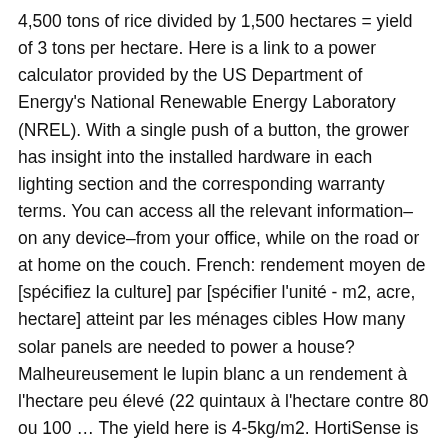4,500 tons of rice divided by 1,500 hectares = yield of 3 tons per hectare. Here is a link to a power calculator provided by the US Department of Energy's National Renewable Energy Laboratory (NREL). With a single push of a button, the grower has insight into the installed hardware in each lighting section and the corresponding warranty terms. You can access all the relevant information–on any device–from your office, while on the road or at home on the couch. French: rendement moyen de [spécifiez la culture] par [spécifier l'unité - m2, acre, hectare] atteint par les ménages cibles How many solar panels are needed to power a house? Malheureusement le lupin blanc a un rendement à l'hectare peu élevé (22 quintaux à l'hectare contre 80 ou 100 … The yield here is 4-5kg/m2. HortiSense is available in Dutch, English and now also in Russian. Everything is done with the goal of maximising the yield per square metre at the most competitive price. Hortilux the specialist in grow light solutions, gives the grower the chance to